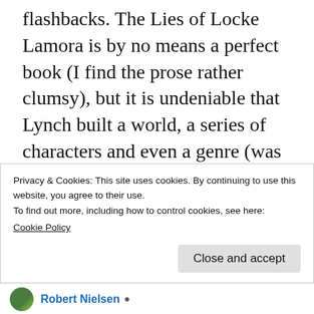flashbacks. The Lies of Locke Lamora is by no means a perfect book (I find the prose rather clumsy), but it is undeniable that Lynch built a world, a series of characters and even a genre (was “fantasy heist” a thing before?) with loads of potential that were not taken full advantage of in books 2 and 3. Unfortunately, some of these elements are now gone forever, or relegated to flashback material, but hopefully we’ll see more of what made the Lies such a good read in the coming books.
Privacy & Cookies: This site uses cookies. By continuing to use this website, you agree to their use.
To find out more, including how to control cookies, see here:
Cookie Policy
Close and accept
Robert Nielsen